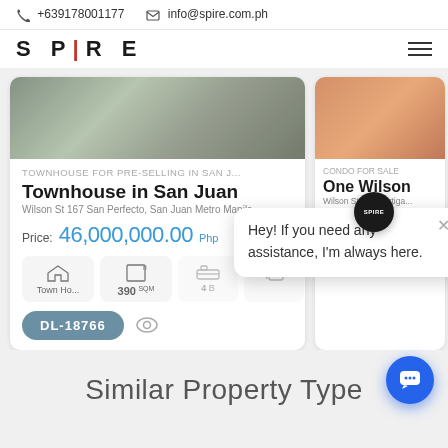+639178001177  info@spire.com.ph
[Figure (screenshot): Spire real estate website screenshot showing property listings with logo, contact info, and chat widget]
TOWNHOUSE FOR PRE-SELLING IN SAN J...
Townhouse in San Juan
Wilson St 167 San Perfecto, San Juan Metro Manila
Price: 46,000,000.00 Php
Town Ho... 390 SQM 4 B
DL-18766
CONDO FOR SALE
One Wilson
Wilson St. cor., Ortiga...
Price: 12,000...
Hey! If you need any assistance, I'm always here.
Similar Property Type